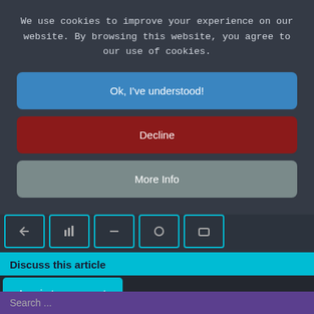We use cookies to improve your experience on our website. By browsing this website, you agree to our use of cookies.
Ok, I've understood!
Decline
More Info
[Figure (screenshot): Row of five social media icon buttons with cyan borders on dark background]
Discuss this article
Log in to comment
Search ...